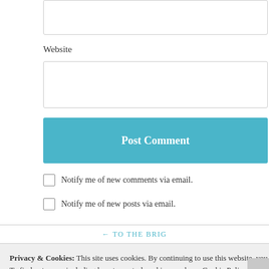Website
[Figure (screenshot): Website text input field (form input box)]
[Figure (screenshot): Post Comment button in teal/blue color]
Notify me of new comments via email.
Notify me of new posts via email.
← TO THE BRIG
Privacy & Cookies: This site uses cookies. By continuing to use this website, you agree to their use.
To find out more, including how to control cookies, see here: Cookie Policy
Close and accept